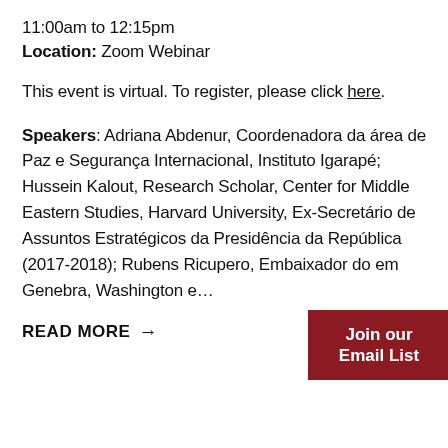11:00am to 12:15pm
Location: Zoom Webinar
This event is virtual. To register, please click here.
Speakers: Adriana Abdenur, Coordenadora da área de Paz e Segurança Internacional, Instituto Igarapé; Hussein Kalout, Research Scholar, Center for Middle Eastern Studies, Harvard University, Ex-Secretário de Assuntos Estratégicos da Presidência da República (2017-2018); Rubens Ricupero, Embaixador do em Genebra, Washington e...
Join our Email List
READ MORE →